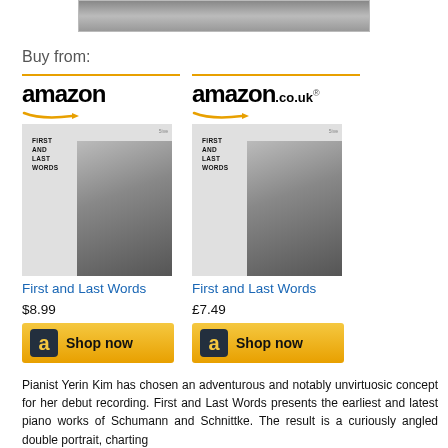[Figure (photo): Partial black and white photo at top of page, cropped]
Buy from:
[Figure (logo): Amazon US logo with orange arrow]
[Figure (photo): Album cover for First and Last Words - Amazon US]
First and Last Words
$8.99
[Figure (logo): Amazon UK logo with orange arrow]
[Figure (photo): Album cover for First and Last Words - Amazon UK]
First and Last Words
£7.49
Pianist Yerin Kim has chosen an adventurous and notably unvirtuosic concept for her debut recording. First and Last Words presents the earliest and latest piano works of Schumann and Schnittke. The result is a curiously angled double portrait, charting